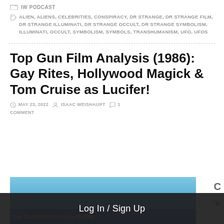IW PODCAST
ALIEN, ALIENS, CELEBRITIES, CONSPIRACY, DR STRANGE, DR STRANGE FILM, DR STRANGE ILLUMINATI, DR STRANGE OCCULT, DR STRANGE SYMBOLISM, ILLUMINATI, OCCULT, SYMBOLISM, SYMBOLS, TRANSHUMANISM, UFO, UFOS
Top Gun Film Analysis (1986): Gay Rites, Hollywood Magick & Tom Cruise as Lucifer!
MAY 23, 2022  ISAAC WEISHAUPT  1 COMMENT
[Figure (screenshot): Partial image of Top Gun Film Analysis article thumbnail with blue background and yellow/orange text reading 'Top Gun Film Analysis (1986):'. A dark overlay bar reads 'Log In / Sign Up'. The letter 'C' and 's' are partially visible to the right.]